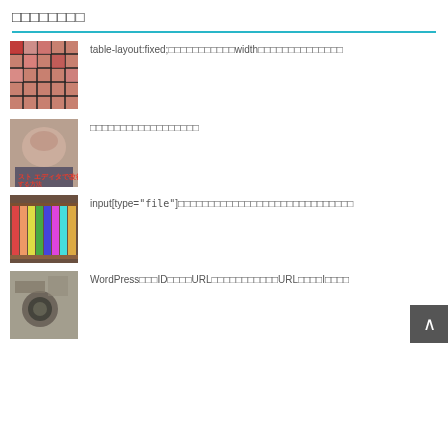□□□□□□□□
table-layout:fixed;□□□□□□□□□□□width□□□□□□□□□□□□□□
□□□□□□□□□□□□□□□□□□
input[type="file"]□□□□□□□□□□□□□□□□□□□□□□□□□□□□□
WordPress□□□ID□□□□URL□□□□□□□□□□□URL□□□□I□□□□